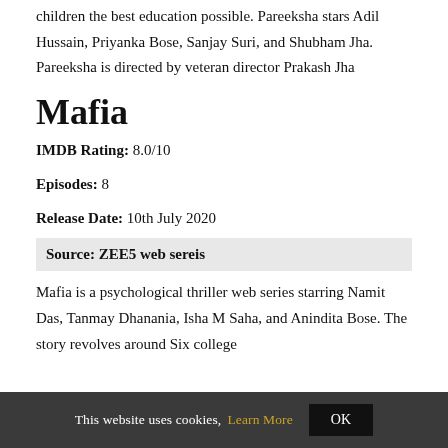children the best education possible. Pareeksha stars Adil Hussain, Priyanka Bose, Sanjay Suri, and Shubham Jha. Pareeksha is directed by veteran director Prakash Jha
Mafia
IMDB Rating: 8.0/10
Episodes: 8
Release Date: 10th July 2020
Source: ZEE5 web sereis
Mafia is a psychological thriller web series starring Namit Das, Tanmay Dhanania, Isha M Saha, and Anindita Bose. The story revolves around Six college
This website uses cookies, Learn More OK